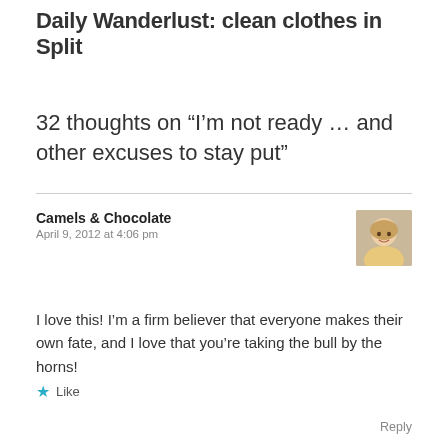Daily Wanderlust: clean clothes in Split
32 thoughts on “I’m not ready … and other excuses to stay put”
Camels & Chocolate
April 9, 2012 at 4:06 pm
I love this! I’m a firm believer that everyone makes their own fate, and I love that you’re taking the bull by the horns!
★ Like
Reply